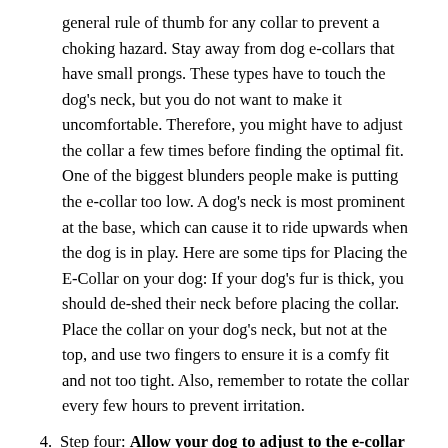general rule of thumb for any collar to prevent a choking hazard. Stay away from dog e-collars that have small prongs. These types have to touch the dog's neck, but you do not want to make it uncomfortable. Therefore, you might have to adjust the collar a few times before finding the optimal fit. One of the biggest blunders people make is putting the e-collar too low. A dog's neck is most prominent at the base, which can cause it to ride upwards when the dog is in play. Here are some tips for Placing the E-Collar on your dog: If your dog's fur is thick, you should de-shed their neck before placing the collar. Place the collar on your dog's neck, but not at the top, and use two fingers to ensure it is a comfy fit and not too tight. Also, remember to rotate the collar every few hours to prevent irritation.
4. Step four: Allow your dog to adjust to the e-collar for a few days, preferably a week. Although this step is optional, many professional trainers say it is best not to use the collar for a week. This will allow your dog time to adapt to the collar before experiencing the first shock and associate it with being punished. The point of the dog e-collars is to make the dog feel